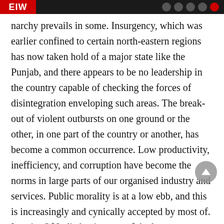EIW [logo] [navigation icons]
narchy prevails in some. Insurgency, which was earlier confined to certain north-eastern regions has now taken hold of a major state like the Punjab, and there appears to be no leadership in the country capable of checking the forces of disintegration enveloping such areas. The break-out of violent outbursts on one ground or the other, in one part of the country or another, has become a common occurrence. Low productivity, inefficiency, and corruption have become the norms in large parts of our organised industry and services. Public morality is at a low ebb, and this is increasingly and cynically accepted by most of. In spite Of India having one of the largest sta... armies, and with a very large and growing defence expenditure, India is not able to ensure that even